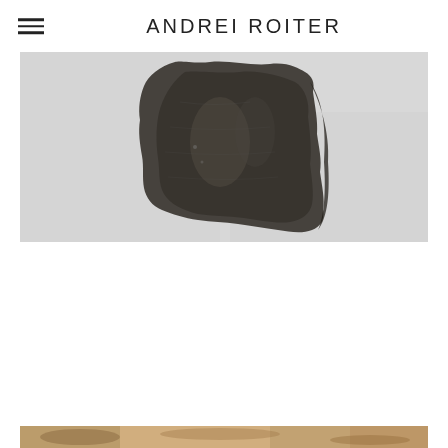ANDREI ROITER
[Figure (photo): A grayscale/sepia photograph of an abstract dark shape resembling a silhouette or fragment against a light background. The shape is dark grayish-brown, centered in the upper portion of the image, with irregular edges.]
[Figure (photo): A partial photograph visible at the bottom edge of the page, showing a warm-toned image, content partially cut off.]